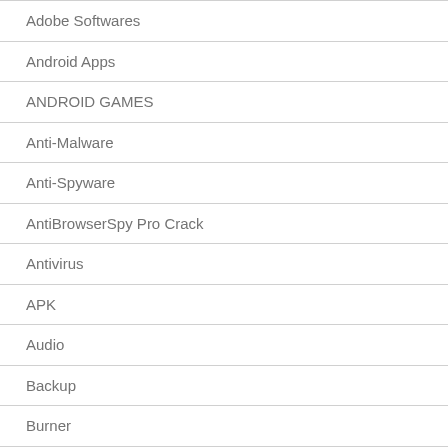Adobe Softwares
Android Apps
ANDROID GAMES
Anti-Malware
Anti-Spyware
AntiBrowserSpy Pro Crack
Antivirus
APK
Audio
Backup
Burner
Car
CCleaner
CD/DVD